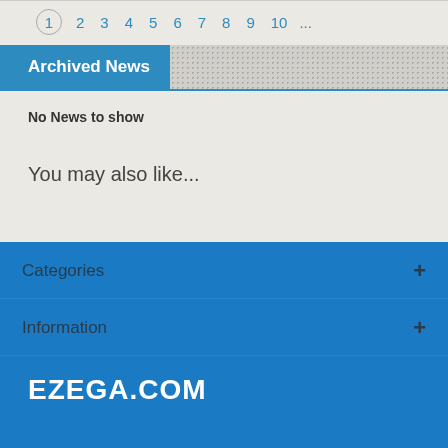1 2 3 4 5 6 7 8 9 10 ...
Archived News
No News to show
You may also like...
Categories
Information
EZEGA.COM